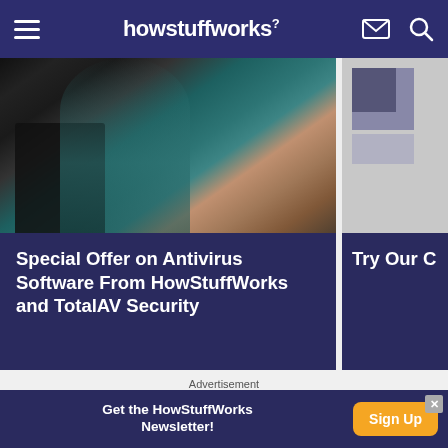howstuffworks
[Figure (photo): Woman working at laptop, wearing teal blazer, office setting]
Special Offer on Antivirus Software From HowStuffWorks and TotalAV Security
[Figure (photo): Partial card showing 'Try Our C...' — partially visible right card]
Advertisement
[Figure (other): Advertisement placeholder block (gray rectangle)]
Get the HowStuffWorks Newsletter!
Sign Up